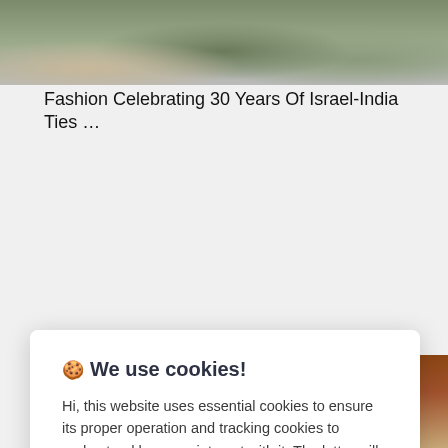[Figure (photo): Top portion of a photo showing people at what appears to be an outdoor event with plants and decorations, partially cropped]
Fashion Celebrating 30 Years Of Israel-India Ties …
🍪 We use cookies!

Hi, this website uses essential cookies to ensure its proper operation and tracking cookies to understand how you interact with it. The latter will be set only after consent. Let me choose

[Accept all button]
[Reject all button]
Delhi Court Acquits Kejriwal, Sisodia In Defamation Case …